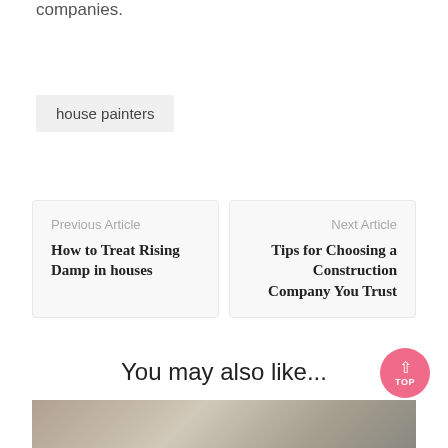companies.
house painters
Previous Article
How to Treat Rising Damp in houses
Next Article
Tips for Choosing a Construction Company You Trust
You may also like...
[Figure (photo): Partial photo strip visible at bottom of page]